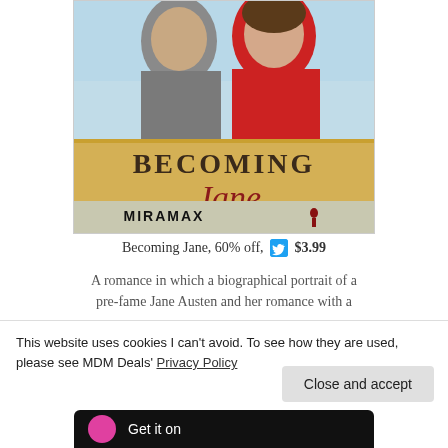[Figure (illustration): Movie poster for 'Becoming Jane' by Miramax. Shows a man and woman in a romantic close-up at top, with 'BECOMING Jane' text in gold/tan area below, and MIRAMAX logo at bottom with a small figure walking on a beach.]
Becoming Jane, 60% off, [Twitter icon] $3.99
A romance in which a biographical portrait of a pre-fame Jane Austen and her romance with a
This website uses cookies I can't avoid. To see how they are used, please see MDM Deals' Privacy Policy
Close and accept
Get it on